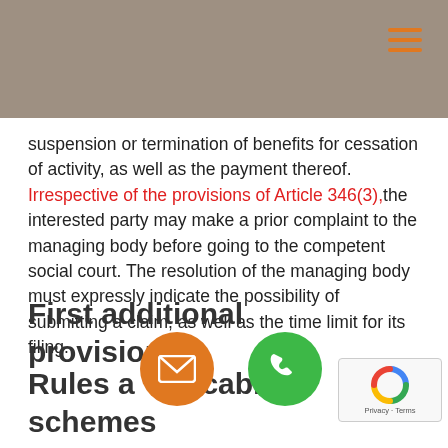suspension or termination of benefits for cessation of activity, as well as the payment thereof. Irrespective of the provisions of Article 346(3),the interested party may make a prior complaint to the managing body before going to the competent social court. The resolution of the managing body must expressly indicate the possibility of submitting a claim, as well as the time limit for its filing.
First additional provision.
Rules applicable to special schemes